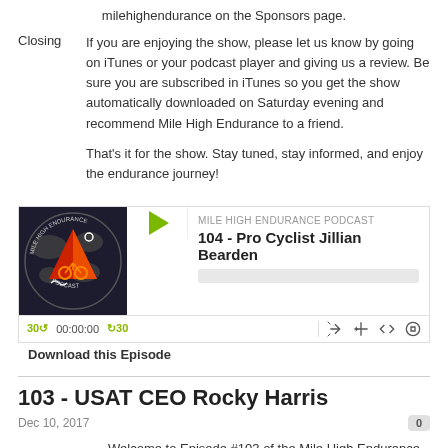milehighendurance on the Sponsors page.
Closing
If you are enjoying the show, please let us know by going on iTunes or your podcast player and giving us a review.  Be sure you are subscribed in iTunes so you get the show automatically downloaded on Saturday evening and recommend Mile High Endurance to a friend.

That's it for the show.  Stay tuned, stay informed, and enjoy the endurance journey!
[Figure (screenshot): Podcast player widget for Mile High Endurance Podcast episode 104 - Pro Cyclist Jillian Bearden, with play button, progress bar, and playback controls showing 00:00:00]
Download this Episode
103 - USAT CEO Rocky Harris
Dec 10, 2017
0
Welcome to Episode #103 of the Mile High Endurance